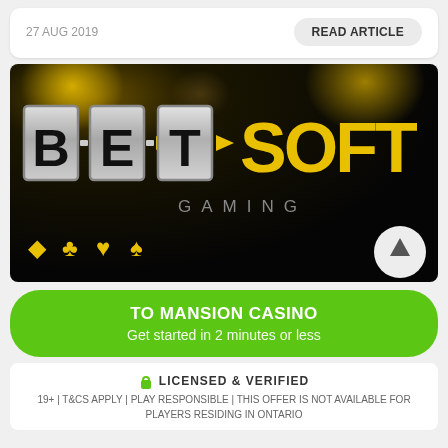27 AUG 2019
READ ARTICLE
[Figure (logo): Betsoft Gaming logo on dark background with yellow bokeh lights, silver 3D letter boxes spelling BET, yellow arrow, and yellow SOFT text, with GAMING text and yellow suit card symbols (diamond, club, heart, spade) below]
TO MANSION CASINO
Get started in 2 minutes or less
LICENSED & VERIFIED
19+ | T&CS APPLY | PLAY RESPONSIBLE | THIS OFFER IS NOT AVAILABLE FOR PLAYERS RESIDING IN ONTARIO